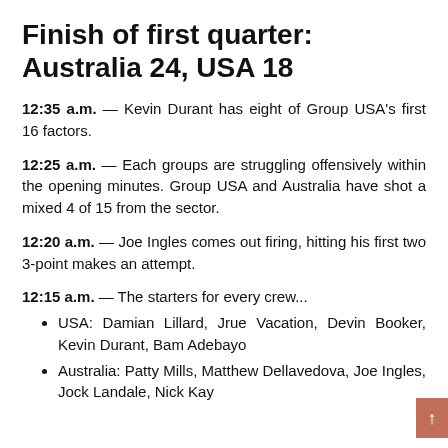Finish of first quarter: Australia 24, USA 18
12:35 a.m. — Kevin Durant has eight of Group USA's first 16 factors.
12:25 a.m. — Each groups are struggling offensively within the opening minutes. Group USA and Australia have shot a mixed 4 of 15 from the sector.
12:20 a.m. — Joe Ingles comes out firing, hitting his first two 3-point makes an attempt.
12:15 a.m. — The starters for every crew...
USA: Damian Lillard, Jrue Vacation, Devin Booker, Kevin Durant, Bam Adebayo
Australia: Patty Mills, Matthew Dellavedova, Joe Ingles, Jock Landale, Nick Kay